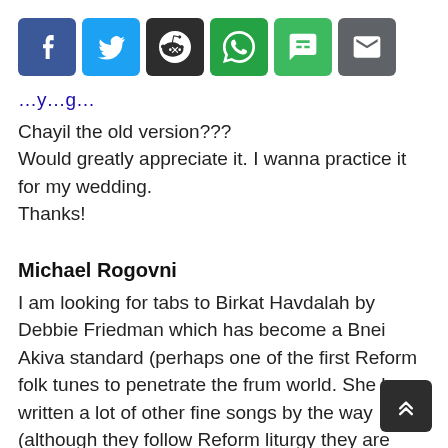[Figure (other): Social share buttons: Facebook, Twitter, Reddit, WhatsApp, SMS, Email]
Chayil the old version???
Would greatly appreciate it. I wanna practice it for my wedding.
Thanks!
Michael Rogovni
I am looking for tabs to Birkat Havdalah by Debbie Friedman which has become a Bnei Akiva standard (perhaps one of the first Reform folk tunes to penetrate the frum world. She has written a lot of other fine songs by the way (although they follow Reform liturgy they are easily adapted to fit traditional texts).